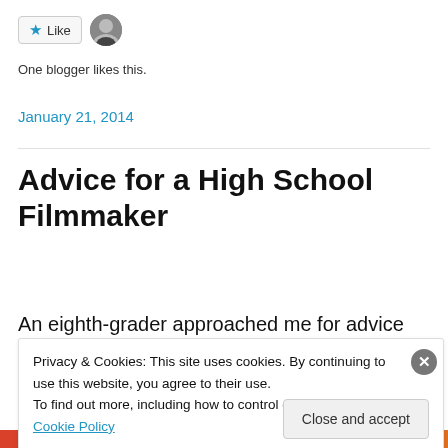[Figure (other): Like button with star icon and blogger avatar photo]
One blogger likes this.
January 21, 2014
Advice for a High School Filmmaker
An eighth-grader approached me for advice on making movies and getting started at his age. Here’s what I
Privacy & Cookies: This site uses cookies. By continuing to use this website, you agree to their use.
To find out more, including how to control cookies, see here: Cookie Policy
Close and accept